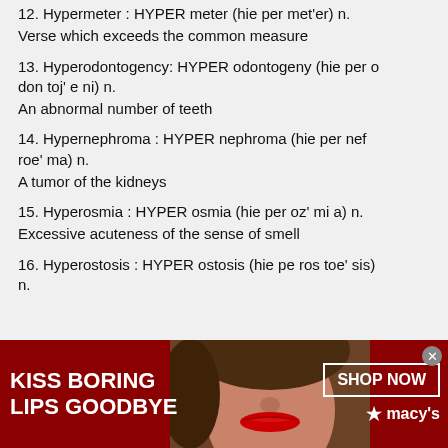12. Hypermeter : HYPER meter (hie per met'er) n.
Verse which exceeds the common measure
13. Hyperodontogency: HYPER odontogeny (hie per o don toj' e ni) n.
An abnormal number of teeth
14. Hypernephroma : HYPER nephroma (hie per nef roe' ma) n.
A tumor of the kidneys
15. Hyperosmia : HYPER osmia (hie per oz' mi a) n.
Excessive acuteness of the sense of smell
16. Hyperostosis : HYPER ostosis (hie pe ros toe' sis) n.
[Figure (other): Advertisement banner for Macy's lipstick product: 'KISS BORING LIPS GOODBYE' with a woman's face showing red lips, SHOP NOW button, and Macy's star logo, on dark red background]